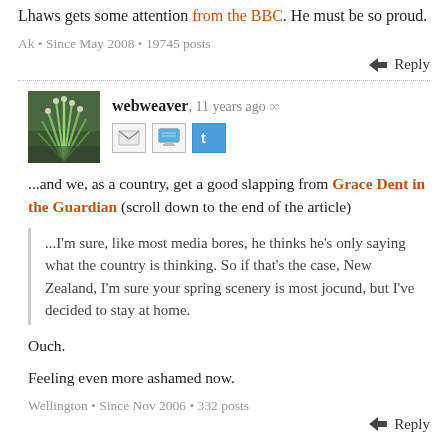Lhaws gets some attention from the BBC. He must be so proud.
Ak • Since May 2008 • 19745 posts
Reply
webweaver, 11 years ago ∞
...and we, as a country, get a good slapping from Grace Dent in the Guardian (scroll down to the end of the article)
...I'm sure, like most media bores, he thinks he's only saying what the country is thinking. So if that's the case, New Zealand, I'm sure your spring scenery is most jocund, but I've decided to stay at home.
Ouch.
Feeling even more ashamed now.
Wellington • Since Nov 2006 • 332 posts
Reply